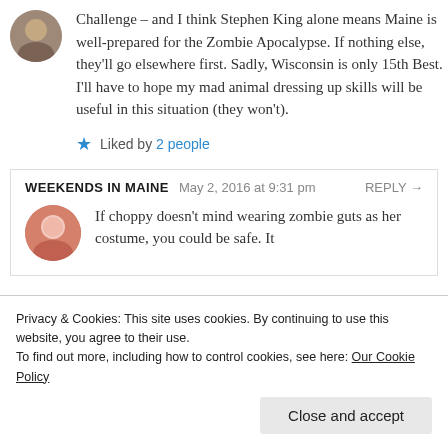Challenge – and I think Stephen King alone means Maine is well-prepared for the Zombie Apocalypse. If nothing else, they'll go elsewhere first. Sadly, Wisconsin is only 15th Best. I'll have to hope my mad animal dressing up skills will be useful in this situation (they won't).
★ Liked by 2 people
WEEKENDS IN MAINE  May 2, 2016 at 9:31 pm  REPLY →
If choppy doesn't mind wearing zombie guts as her costume, you could be safe. It
Privacy & Cookies: This site uses cookies. By continuing to use this website, you agree to their use.
To find out more, including how to control cookies, see here: Our Cookie Policy
Close and accept